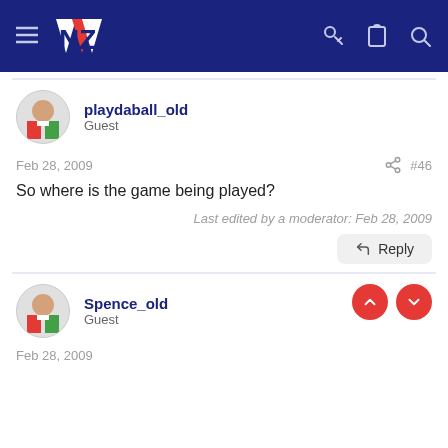NZ Warriors Forum
playdaball_old
Guest
Feb 28, 2009  #46
So where is the game being played?
Last edited by a moderator: Feb 28, 2009
Reply
Spence_old
Guest
Feb 28, 2009  #4